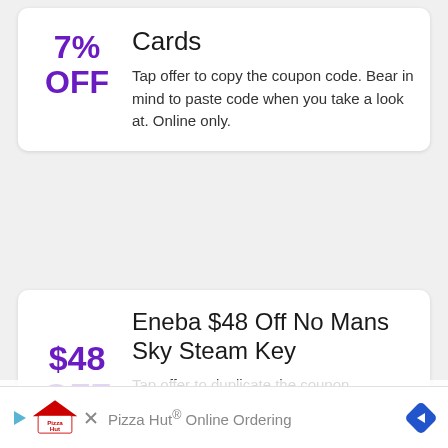7% OFF
Cards
Tap offer to copy the coupon code. Bear in mind to paste code when you take a look at. Online only.
$48 OFF
Eneba $48 Off No Mans Sky Steam Key
Tap offer to duplicate the coupon
Dine in   Curbside pickup
Pizza Hut® Online Ordering